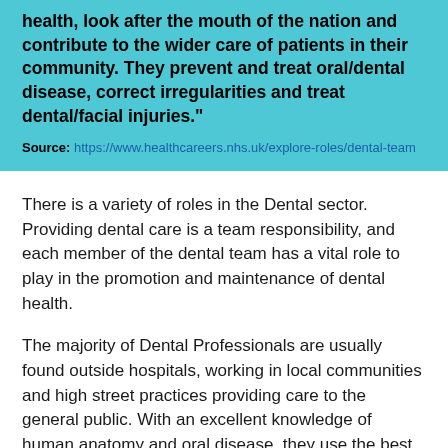health, look after the mouth of the nation and contribute to the wider care of patients in their community. They prevent and treat oral/dental disease, correct irregularities and treat dental/facial injuries." Source: https://www.healthcareers.nhs.uk/explore-roles/dental-team
There is a variety of roles in the Dental sector. Providing dental care is a team responsibility, and each member of the dental team has a vital role to play in the promotion and maintenance of dental health.
The majority of Dental Professionals are usually found outside hospitals, working in local communities and high street practices providing care to the general public. With an excellent knowledge of human anatomy and oral disease, they use the best clinical skills to help their patients.